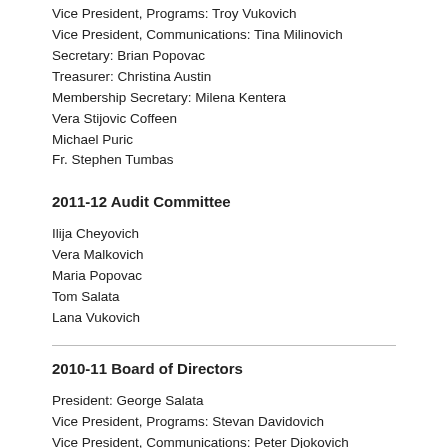Vice President, Programs: Troy Vukovich
Vice President, Communications: Tina Milinovich
Secretary: Brian Popovac
Treasurer: Christina Austin
Membership Secretary: Milena Kentera
Vera Stijovic Coffeen
Michael Puric
Fr. Stephen Tumbas
2011-12 Audit Committee
Ilija Cheyovich
Vera Malkovich
Maria Popovac
Tom Salata
Lana Vukovich
2010-11 Board of Directors
President: George Salata
Vice President, Programs: Stevan Davidovich
Vice President, Communications: Peter Djokovich